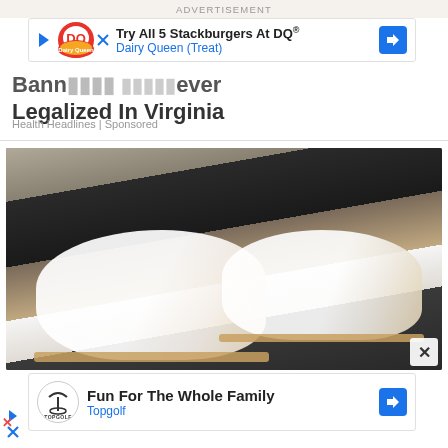ADVERTISEMENT
[Figure (screenshot): Dairy Queen advertisement banner: 'Try All 5 Stackburgers At DQ® / Dairy Queen (Treat)']
Bann... ...ever Legalized In Virginia
Health Headlines | Sponsored
[Figure (photo): Close-up photo of a person wearing white perforated slip-on sneakers with tan/gold sole trim, wearing white jeans, standing on a dark textured surface]
[Figure (screenshot): Topgolf advertisement banner: 'Fun For The Whole Family / Topgolf']